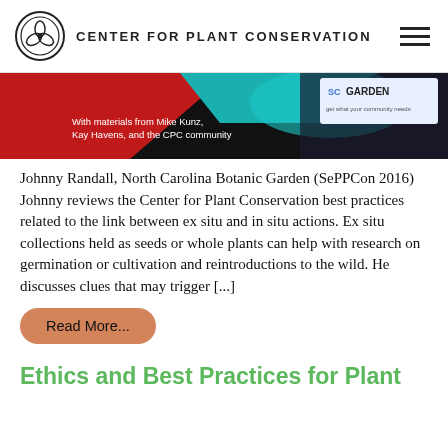CENTER FOR PLANT CONSERVATION
[Figure (photo): Presentation slide image with colorful abstract background (red, teal, black) showing text 'With materials from Mike Kunz, Kay Havens, and the CPC community' and a partial logo reading 'GARDEN']
Johnny Randall, North Carolina Botanic Garden (SePPCon 2016) Johnny reviews the Center for Plant Conservation best practices related to the link between ex situ and in situ actions. Ex situ collections held as seeds or whole plants can help with research on germination or cultivation and reintroductions to the wild. He discusses clues that may trigger [...]
Read More...
Ethics and Best Practices for Plant